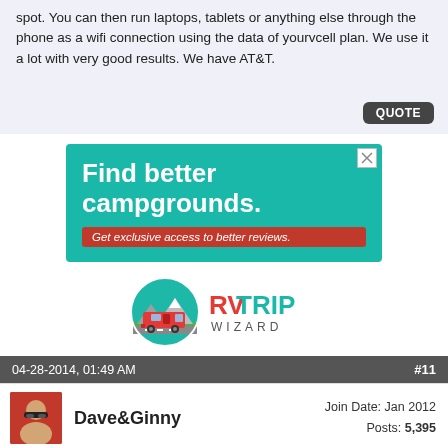spot. You can then run laptops, tablets or anything else through the phone as a wifi connection using the data of yourvcell plan. We use it a lot with very good results. We have AT&T.
[Figure (screenshot): Advertisement banner: teal background with white bold text 'Find better campgrounds.' and red button 'Get exclusive access to better reviews.']
[Figure (logo): RV Trip Wizard logo: circular icon with red RV and mountains, beside bold red and teal 'RVTRIP WIZARD' text]
04-28-2014, 01:49 AM   #11
Dave&Ginny   Join Date: Jan 2012   Posts: 5,395